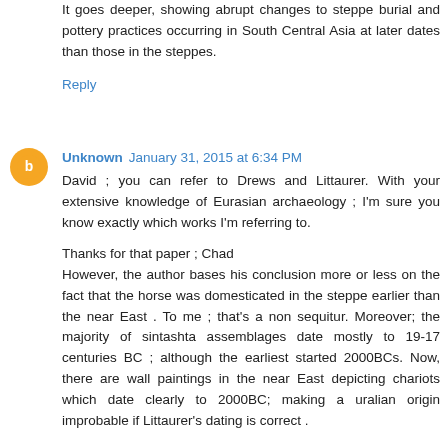It goes deeper, showing abrupt changes to steppe burial and pottery practices occurring in South Central Asia at later dates than those in the steppes.
Reply
[Figure (illustration): Orange circular avatar icon with a white blogger 'B' symbol inside]
Unknown January 31, 2015 at 6:34 PM
David ; you can refer to Drews and Littaurer. With your extensive knowledge of Eurasian archaeology ; I'm sure you know exactly which works I'm referring to.

Thanks for that paper ; Chad
However, the author bases his conclusion more or less on the fact that the horse was domesticated in the steppe earlier than the near East . To me ; that's a non sequitur. Moreover; the majority of sintashta assemblages date mostly to 19-17 centuries BC ; although the earliest started 2000BCs. Now, there are wall paintings in the near East depicting chariots which date clearly to 2000BC; making a uralian origin improbable if Littaurer's dating is correct .